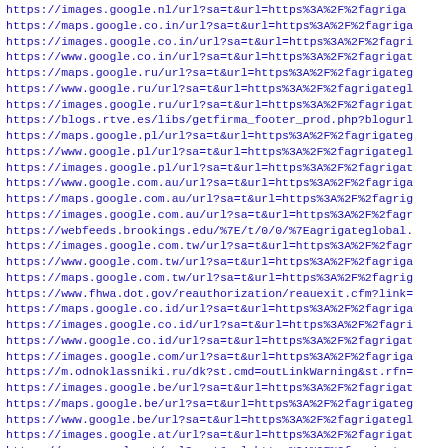https://images.google.nl/url?sa=t&url=https%3A%2F%2fagriga
https://maps.google.co.in/url?sa=t&url=https%3A%2F%2fagriga
https://images.google.co.in/url?sa=t&url=https%3A%2F%2fagri
https://www.google.co.in/url?sa=t&url=https%3A%2F%2fagrigat
https://maps.google.ru/url?sa=t&url=https%3A%2F%2fagrigateg
https://www.google.ru/url?sa=t&url=https%3A%2F%2fagrigategl
https://images.google.ru/url?sa=t&url=https%3A%2F%2fagrigat
https://blogs.rtve.es/libs/getfirma_footer_prod.php?blogurl
https://maps.google.pl/url?sa=t&url=https%3A%2F%2fagrigateg
https://www.google.pl/url?sa=t&url=https%3A%2F%2fagrigategl
https://images.google.pl/url?sa=t&url=https%3A%2F%2fagrigat
https://www.google.com.au/url?sa=t&url=https%3A%2F%2fagriga
https://maps.google.com.au/url?sa=t&url=https%3A%2F%2fagrig
https://images.google.com.au/url?sa=t&url=https%3A%2F%2fagr
https://webfeeds.brookings.edu/%7E/t/0/0/%7Eagrigateglobal.
https://images.google.com.tw/url?sa=t&url=https%3A%2F%2fagr
https://www.google.com.tw/url?sa=t&url=https%3A%2F%2fagriga
https://maps.google.com.tw/url?sa=t&url=https%3A%2F%2fagrig
https://www.fhwa.dot.gov/reauthorization/reauexit.cfm?link=
https://maps.google.co.id/url?sa=t&url=https%3A%2F%2fagriga
https://images.google.co.id/url?sa=t&url=https%3A%2F%2fagri
https://www.google.co.id/url?sa=t&url=https%3A%2F%2fagrigat
https://images.google.com/url?sa=t&url=https%3A%2F%2fagriga
https://m.odnoklassniki.ru/dk?st.cmd=outLinkWarning&st.rfn=
https://images.google.be/url?sa=t&url=https%3A%2F%2fagrigat
https://maps.google.be/url?sa=t&url=https%3A%2F%2fagrigateg
https://www.google.be/url?sa=t&url=https%3A%2F%2fagrigategl
https://images.google.at/url?sa=t&url=https%3A%2F%2fagrigat
https://maps.google.at/url?sa=t&url=https%3A%2F%2fagrigateg
https://www.google.at/url?sa=t&url=https%3A%2F%2fagrigateg